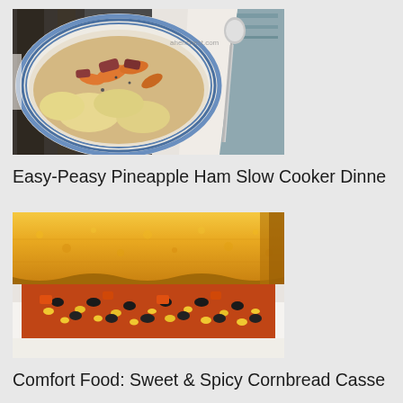[Figure (photo): A white ceramic bowl with blue rim containing a slow cooker dinner with ham, carrots, potatoes and dumplings. Next to it is a spoon on a wooden surface. Watermark: ahensnest.com]
Easy-Peasy Pineapple Ham Slow Cooker Dinne
[Figure (photo): Close-up photo of a sweet and spicy cornbread casserole on a white plate, showing a golden cornbread topping over a filling of black beans, corn, tomatoes and peppers]
Comfort Food: Sweet & Spicy Cornbread Casse